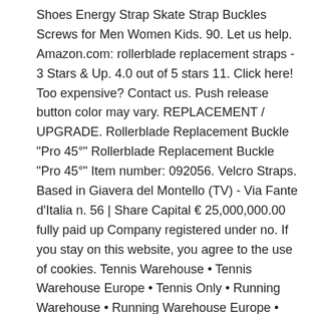Shoes Energy Strap Skate Strap Buckles Screws for Men Women Kids. 90. Let us help. Amazon.com: rollerblade replacement straps - 3 Stars & Up. 4.0 out of 5 stars 11. Click here! Too expensive? Contact us. Push release button color may vary. REPLACEMENT / UPGRADE. Rollerblade Replacement Buckle "Pro 45°" Rollerblade Replacement Buckle "Pro 45°" Item number: 092056. Velcro Straps. Based in Giavera del Montello (TV) - Via Fante d'Italia n. 56 | Share Capital € 25,000,000.00 fully paid up Company registered under no. If you stay on this website, you agree to the use of cookies. Tennis Warehouse • Tennis Warehouse Europe • Tennis Only • Running Warehouse • Running Warehouse Europe • Running Warehouse Australia, Tackle Warehouse • Skate Warehouse • Riding Warehouse • Racquetball Warehouse • Total Pickleball, Rollerblade RB80 RB110 Mid Powerstraps & Buckles Kit, Rollerblade Twister Edge Mid Powerstraps & Buckles Kit, Rollerblade